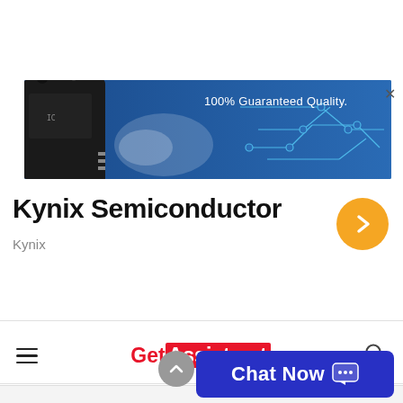[Figure (screenshot): Kynix Semiconductor advertisement banner with a blue circuit board background, a black microchip image on left, glowing light effects, and text '100% Guaranteed Quality.' in white. A close (×) button appears in the top right corner.]
Kynix Semiconductor
Kynix
[Figure (screenshot): Website navigation bar for GetAssist.net with hamburger menu icon on left, red and white GetAssist.net logo in center, and search icon on right.]
[Figure (screenshot): Blue 'Chat Now' button with chat bubble icon in bottom right area of page.]